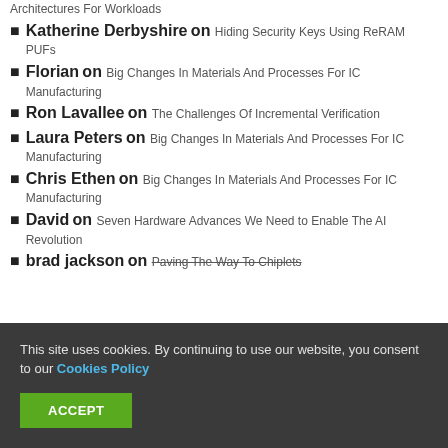Architectures For Workloads
Katherine Derbyshire on Hiding Security Keys Using ReRAM PUFs
Florian on Big Changes In Materials And Processes For IC Manufacturing
Ron Lavallee on The Challenges Of Incremental Verification
Laura Peters on Big Changes In Materials And Processes For IC Manufacturing
Chris Ethen on Big Changes In Materials And Processes For IC Manufacturing
David on Seven Hardware Advances We Need to Enable The AI Revolution
brad jackson on Paving The Way To Chiplets
This site uses cookies. By continuing to use our website, you consent to our Cookies Policy
ACCEPT